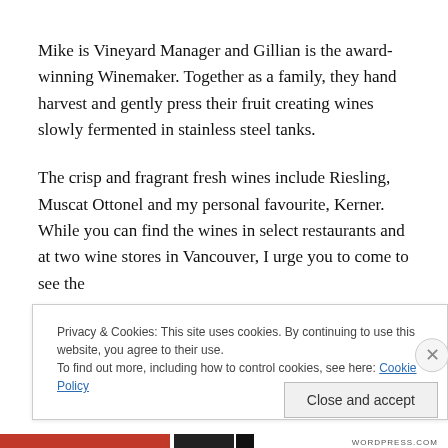Mike is Vineyard Manager and Gillian is the award-winning Winemaker. Together as a family, they hand harvest and gently press their fruit creating wines slowly fermented in stainless steel tanks.
The crisp and fragrant fresh wines include Riesling, Muscat Ottonel and my personal favourite, Kerner. While you can find the wines in select restaurants and at two wine stores in Vancouver, I urge you to come to see the
Privacy & Cookies: This site uses cookies. By continuing to use this website, you agree to their use.
To find out more, including how to control cookies, see here: Cookie Policy
Close and accept